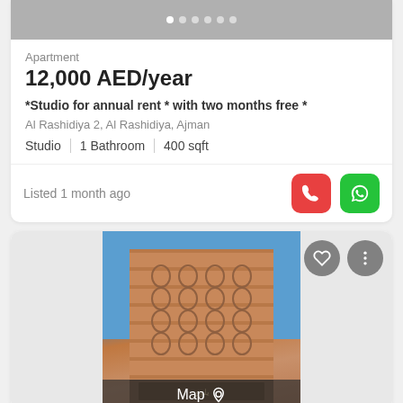[Figure (screenshot): Image carousel strip with pagination dots (1 active, 5 inactive) at the top of the listing card]
Apartment
12,000 AED/year
*Studio for annual rent * with two months free *
Al Rashidiya 2, Al Rashidiya, Ajman
Studio | 1 Bathroom | 400 sqft
Listed 1 month ago
[Figure (photo): Photo of a multi-storey residential apartment building (beige/salmon colored) against a blue sky, with a Map overlay button at the bottom and heart/menu icons top right]